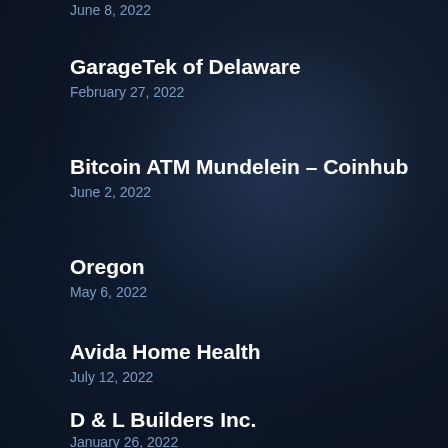June 8, 2022
GarageTek of Delaware
February 27, 2022
Bitcoin ATM Mundelein – Coinhub
June 2, 2022
Oregon
May 6, 2022
Avida Home Health
July 12, 2022
D & L Builders Inc.
January 26, 2022